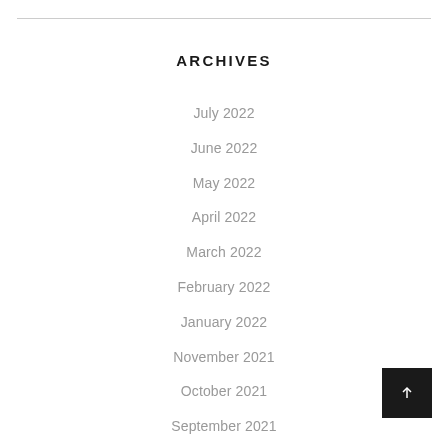ARCHIVES
July 2022
June 2022
May 2022
April 2022
March 2022
February 2022
January 2022
November 2021
October 2021
September 2021